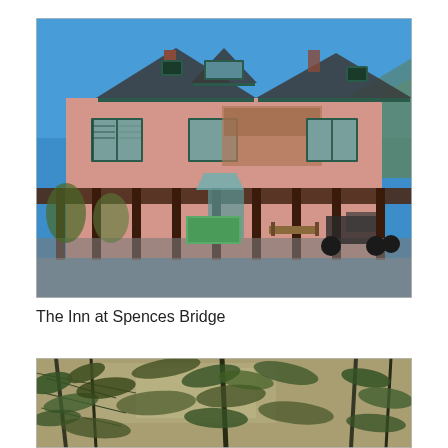[Figure (photo): Exterior photo of The Inn at Spences Bridge, a large pink/salmon-coloured building with teal/blue-grey shutters and a covered porch with dark wooden columns. Several motorcycles are parked in front. Clear blue sky in background.]
The Inn at Spences Bridge
[Figure (photo): Partial photo showing pine/conifer tree branches with dappled light filtering through, rocky or light-coloured background visible behind.]